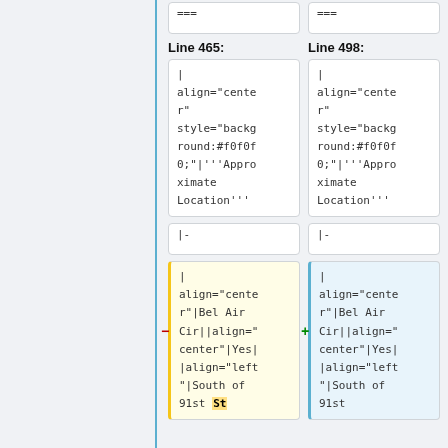===
===
Line 465:
Line 498:
| align="center" style="background:#f0f0f0;"|'''Approximate Location'''
| align="center" style="background:#f0f0f0;"|'''Approximate Location'''
|-
|-
| align="center"|Bel Air Cir||align="center"|Yes||align="left"|South of 91st St
| align="center"|Bel Air Cir||align="center"|Yes||align="left"|South of 91st